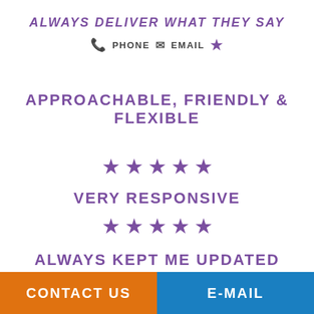ALWAYS DELIVER WHAT THEY SAY
📞 PHONE ✉ EMAIL ★
APPROACHABLE, FRIENDLY & FLEXIBLE
[Figure (other): Five purple stars rating]
VERY RESPONSIVE
[Figure (other): Five purple stars rating]
ALWAYS KEPT ME UPDATED
[Figure (other): Five purple stars rating]
CONTACT US | E-MAIL